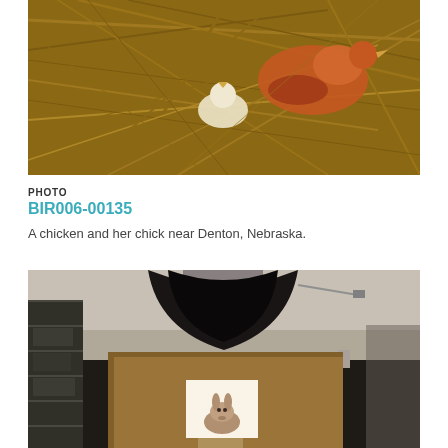[Figure (photo): A chicken and a chick on dry straw/hay, photographed from above. Partial view of chickens.]
PHOTO
BIR006-00135
A chicken and her chick near Denton, Nebraska.
[Figure (photo): A rabbit inside a cardboard photography box with a small opening, illuminated from within. The setup is in a room with shelving units visible in the background. A camera or lighting equipment is mounted above.]